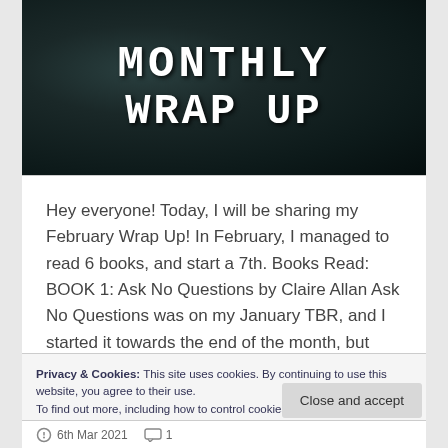[Figure (illustration): Dark textured banner image with white bold typewriter-style text reading 'MONTHLY WRAP UP' on a dark grey/green mottled background]
Hey everyone! Today, I will be sharing my February Wrap Up! In February, I managed to read 6 books, and start a 7th. Books Read: BOOK 1: Ask No Questions by Claire Allan Ask No Questions was on my January TBR, and I started it towards the end of the month, but didn't get the chance...
Privacy & Cookies: This site uses cookies. By continuing to use this website, you agree to their use.
To find out more, including how to control cookies, see here: Cookie Policy
6th Mar 2021   1